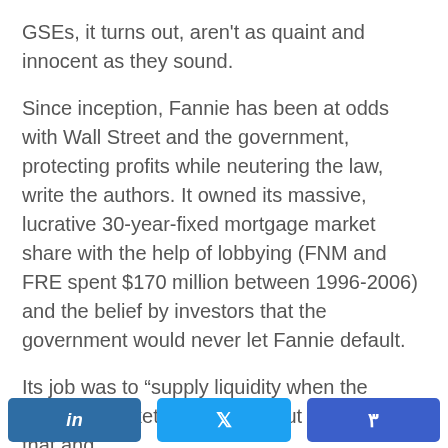GSEs, it turns out, aren't as quaint and innocent as they sound.
Since inception, Fannie has been at odds with Wall Street and the government, protecting profits while neutering the law, write the authors. It owned its massive, lucrative 30-year-fixed mortgage market share with the help of lobbying (FNM and FRE spent $170 million between 1996-2006) and the belief by investors that the government would never let Fannie default.
Its job was to “supply liquidity when the housing markets needed it,” but Fannie forgot that and